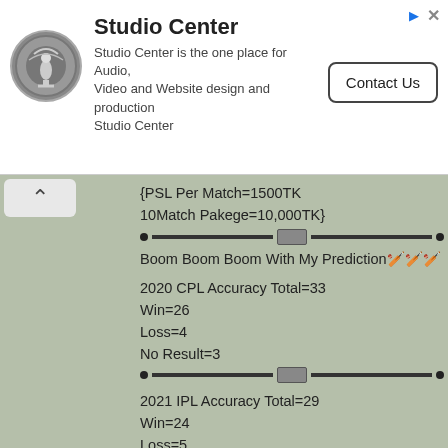[Figure (other): Studio Center advertisement banner with logo, text description, and Contact Us button]
{PSL Per Match=1500TK
10Match Pakege=10,000TK}
Boom Boom Boom With My Prediction🏏🏏🏏
2020 CPL Accuracy Total=33
Win=26
Loss=4
No Result=3
2021 IPL Accuracy Total=29
Win=24
Loss=5
No Result=0
IPL all match result:::🏏
(1)Mumbai just loss😔😔